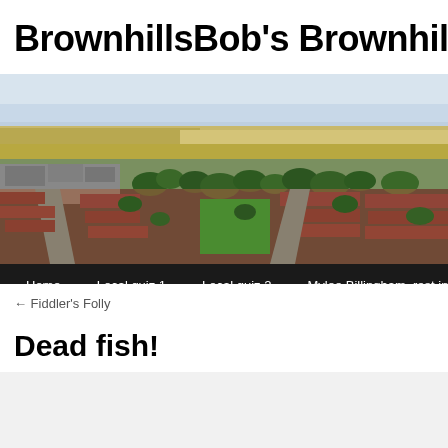BrownhillsBob's Brownhills B
[Figure (photo): Aerial photograph of Brownhills town, showing residential streets, trees, industrial buildings, and surrounding countryside fields under a hazy sky. Navigation bar below with links: Home, Local quiz 1, Local quiz 2, Mylee Billingham, rest in peac…]
← Fiddler's Folly
Dead fish!